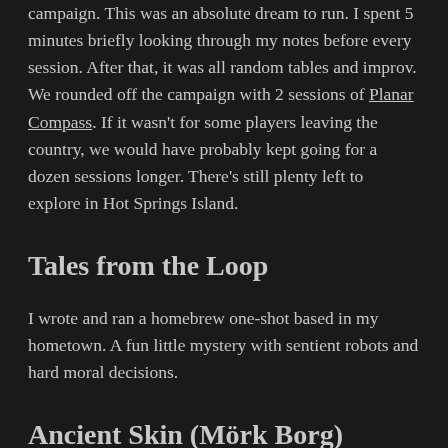campaign. This was an absolute dream to run. I spent 5 minutes briefly looking through my notes before every session. After that, it was all random tables and improv. We rounded off the campaign with 2 sessions of Planar Compass. If it wasn't for some players leaving the country, we would have probably kept going for a dozen sessions longer. There's still plenty left to explore in Hot Springs Island.
Tales from the Loop
I wrote and ran a homebrew one-shot based in my hometown. A fun little mystery with sentient robots and hard moral decisions.
Ancient Skin (Mörk Borg)